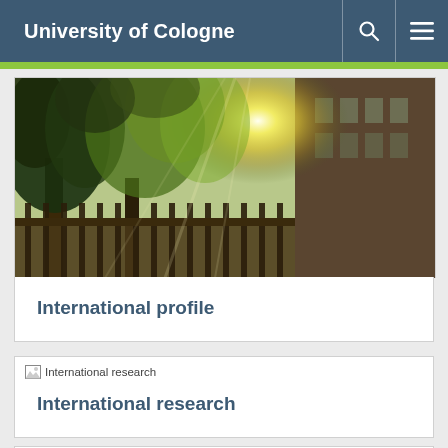University of Cologne
[Figure (photo): Campus photo showing trees with sunlight filtering through leaves and a university building in the background]
International profile
[Figure (photo): Broken image placeholder labeled International research]
International research
[Figure (photo): Broken image placeholder labeled International full degree students]
International full degree students